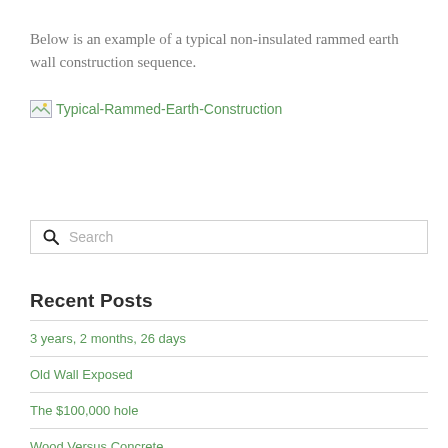Below is an example of a typical non-insulated rammed earth wall construction sequence.
[Figure (photo): Broken image placeholder with alt text 'Typical-Rammed-Earth-Construction']
Search
Recent Posts
3 years, 2 months, 26 days
Old Wall Exposed
The $100,000 hole
Wood Versus Concrete
No Parking: Garage Demolition